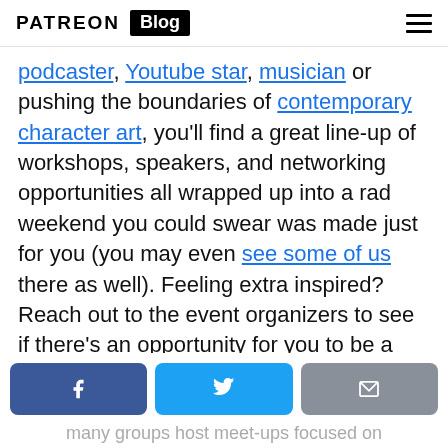PATREON Blog
podcaster, Youtube star, musician or pushing the boundaries of contemporary character art, you'll find a great line-up of workshops, speakers, and networking opportunities all wrapped up into a rad weekend you could swear was made just for you (you may even see some of us there as well). Feeling extra inspired? Reach out to the event organizers to see if there's an opportunity for you to be a speaker on a topic you excel at!
If conferences aren't your jam, check out MeetUp for a group in your area aligned with
many groups host meet-ups focused on